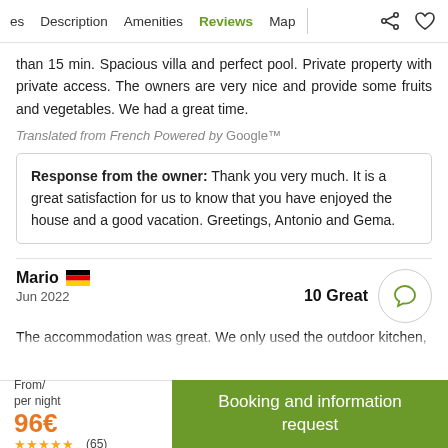es  Description  Amenities  Reviews  Map
than 15 min. Spacious villa and perfect pool. Private property with private access. The owners are very nice and provide some fruits and vegetables. We had a great time.
Translated from French Powered by Google™
Response from the owner: Thank you very much. It is a great satisfaction for us to know that you have enjoyed the house and a good vacation. Greetings, Antonio and Gema.
Mario  Jun 2022  10 Great
The accommodation was great. We only used the outdoor kitchen,
From/ per night 96€ ★★★★★ (65)  Booking and information request